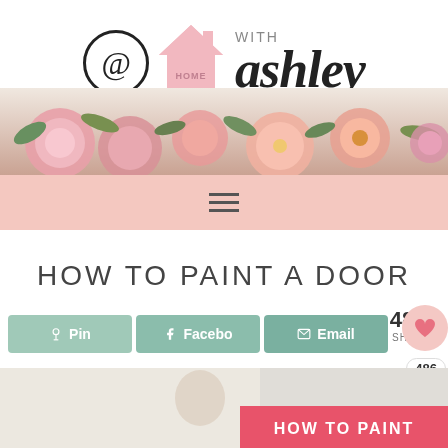[Figure (logo): @ Home with ashley blog logo featuring at-sign, pink house icon, and script text 'ashley' with flowers across the bottom]
[Figure (illustration): Pink navigation bar with hamburger menu icon (three horizontal lines)]
HOW TO PAINT A DOOR
[Figure (infographic): Social share buttons: Pin, Facebook, Email, with share count 484 SHARES / 486]
[Figure (photo): Bottom portion of a photo showing someone painting a door, with pink overlay text reading HOW TO PAINT]